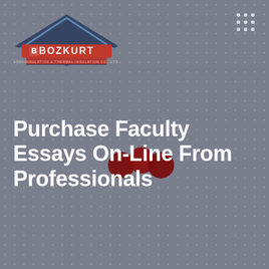[Figure (logo): Bozkurt company logo - house/building shape with text BOZKURT in red/orange on blue diamond background, with subtitle text]
[Figure (other): 3x3 grid of small white dots in top right corner]
[Figure (other): Three dark red decorative circles overlapping, centered in middle area]
Purchase Faculty Essays On-Line From Professionals